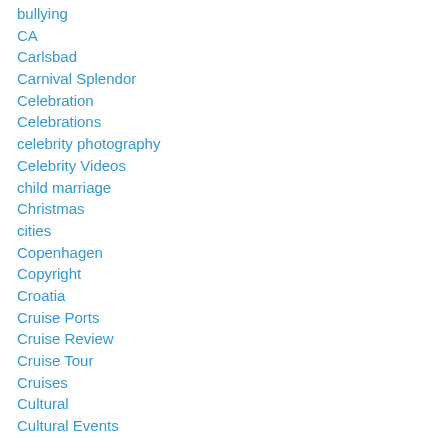bullying
CA
Carlsbad
Carnival Splendor
Celebration
Celebrations
celebrity photography
Celebrity Videos
child marriage
Christmas
cities
Copenhagen
Copyright
Croatia
Cruise Ports
Cruise Review
Cruise Tour
Cruises
Cultural
Cultural Events